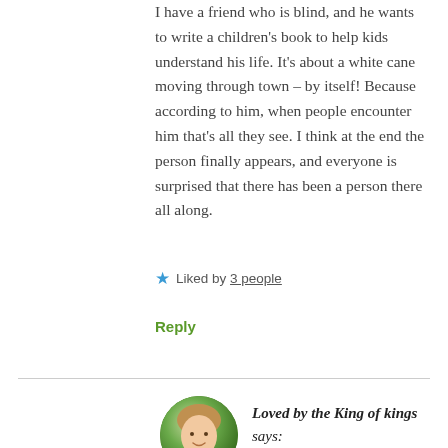I have a friend who is blind, and he wants to write a children's book to help kids understand his life. It's about a white cane moving through town – by itself! Because according to him, when people encounter him that's all they see. I think at the end the person finally appears, and everyone is surprised that there has been a person there all along.
★ Liked by 3 people
Reply
Loved by the King of kings says: November 18, 2020 at 1:25 am
Ann, what a great idea for a book your friend has! I'm sure it will be a...